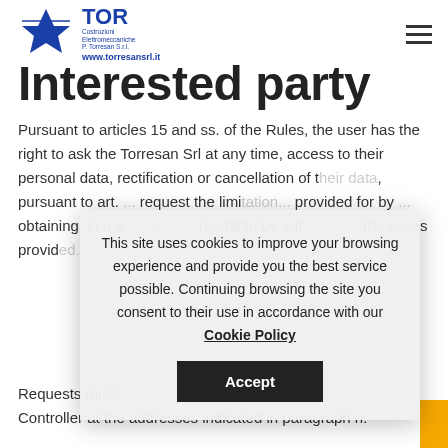[Figure (logo): TOR Costruzioni Elettromeccaniche P. Torresan S.r.l. logo with blue diamond/star shape and text www.torresansrl.it]
Interested party
Pursuant to articles 15 and ss. of the Rules, the user has the right to ask the Torresan Srl at any time, access to their personal data, rectification or cancellation of t... pursuant to art. ... request the limi... provided for by ... obtaining, in a s... readable by aut... the cases provid...
This site uses cookies to improve your browsing experience and provide you the best service possible. Continuing browsing the site you consent to their use in accordance with our Cookie Policy
Requests must ... Controller at the addresses indicated in paragraph n.